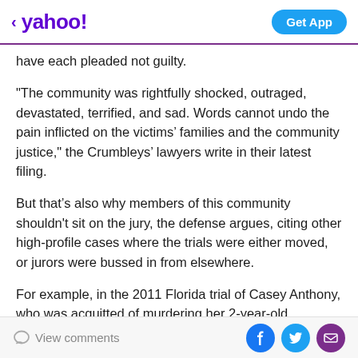yahoo! | Get App
have each pleaded not guilty.
"The community was rightfully shocked, outraged, devastated, terrified, and sad. Words cannot undo the pain inflicted on the victims’ families and the community justice," the Crumbleys’ lawyers write in their latest filing.
But that’s also why members of this community shouldn't sit on the jury, the defense argues, citing other high-profile cases where the trials were either moved, or jurors were bussed in from elsewhere.
For example, in the 2011 Florida trial of Casey Anthony, who was acquitted of murdering her 2-year-old
View comments